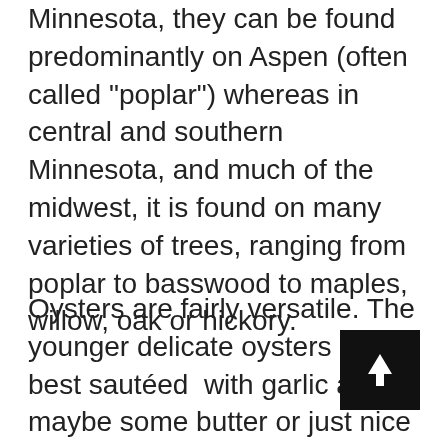Minnesota, they can be found predominantly on Aspen (often called "poplar") whereas in central and southern Minnesota, and much of the midwest, it is found on many varieties of trees, ranging from poplar to basswood to maples, willow, oak or hickory.
Oysters are fairly versatile. The younger delicate oysters are best sautéed with garlic and maybe some butter or just nice olive oil, then stirred into another dish or served simply with some greens . More mature ones can be sliced into long thing strips, battered and deep fried for some mushroom fries. uniformly but rather travel down the stem till